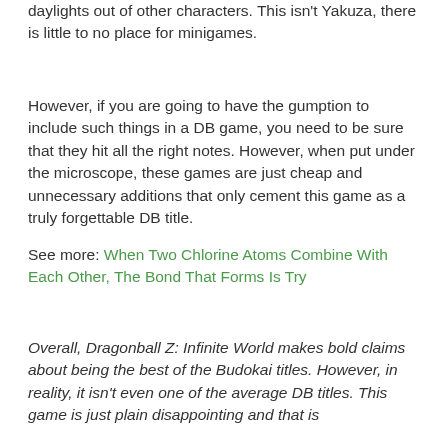daylights out of other characters. This isn't Yakuza, there is little to no place for minigames.
However, if you are going to have the gumption to include such things in a DB game, you need to be sure that they hit all the right notes. However, when put under the microscope, these games are just cheap and unnecessary additions that only cement this game as a truly forgettable DB title.
See more: When Two Chlorine Atoms Combine With Each Other, The Bond That Forms Is Try
Overall, Dragonball Z: Infinite World makes bold claims about being the best of the Budokai titles. However, in reality, it isn't even one of the average DB titles. This game is just plain disappointing and that is